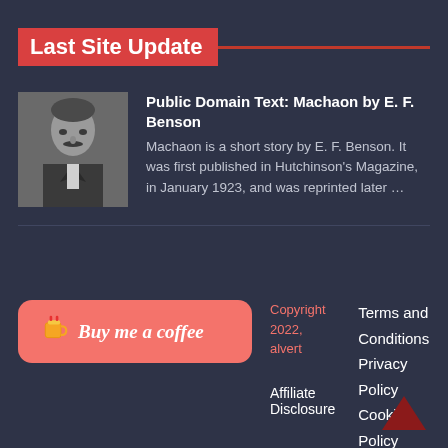Last Site Update
[Figure (photo): Black and white portrait photo of a man in formal attire, presumably E. F. Benson]
Public Domain Text: Machaon by E. F. Benson
Machaon is a short story by E. F. Benson. It was first published in Hutchinson's Magazine, in January 1923, and was reprinted later …
[Figure (logo): Buy me a coffee button with coffee cup icon]
Copyright 2022, alvert
Affiliate Disclosure
Terms and Conditions
Privacy Policy
Cookie Policy